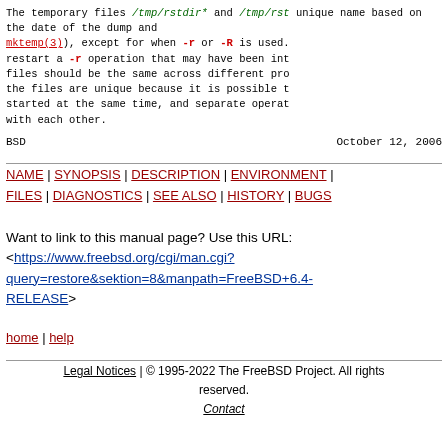The temporary files /tmp/rstdir* and /tmp/rst... unique name based on the date of the dump and... mktemp(3)), except for when -r or -R is used... restart a -r operation that may have been int... files should be the same across different pro... the files are unique because it is possible t... started at the same time, and separate operat... with each other.
BSD    October 12, 2006
NAME | SYNOPSIS | DESCRIPTION | ENVIRONMENT | FILES | DIAGNOSTICS | SEE ALSO | HISTORY | BUGS
Want to link to this manual page? Use this URL:
<https://www.freebsd.org/cgi/man.cgi?query=restore&sektion=8&manpath=FreeBSD+6.4-RELEASE>
home | help
Legal Notices | © 1995-2022 The FreeBSD Project. All rights reserved.
Contact